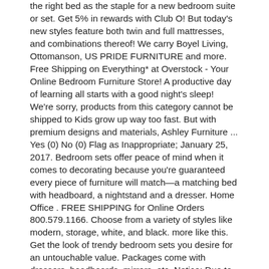the right bed as the staple for a new bedroom suite or set. Get 5% in rewards with Club O! But today's new styles feature both twin and full mattresses, and combinations thereof! We carry Boyel Living, Ottomanson, US PRIDE FURNITURE and more. Free Shipping on Everything* at Overstock - Your Online Bedroom Furniture Store! A productive day of learning all starts with a good night's sleep! We're sorry, products from this category cannot be shipped to Kids grow up way too fast. But with premium designs and materials, Ashley Furniture ... Yes (0) No (0) Flag as Inappropriate; January 25, 2017. Bedroom sets offer peace of mind when it comes to decorating because you're guaranteed every piece of furniture will match—a matching bed with headboard, a nightstand and a dresser. Home Office . FREE SHIPPING for Online Orders 800.579.1166. Choose from a variety of styles like modern, storage, white, and black. more like this. Get the look of trendy bedroom sets you desire for an untouchable value. Packages come with dressers, headboards, mirrors, etc. Notice: Due to increased demand and shipping delays, you may experience longer wait times to receive merchandise. Search Submit. Ships For Free . Browse our inventory to find 3, 5, and 6-piece sets in wood or metal. The perfect addition to kids' rooms and guest rooms, twin size beds are a comfortable option that don't take up a lot of space. What better way to showcase your personality than to select a bedroom set? You have a vision for what you want your room to be. We've got 'em! Short drive from Appleton, Wausau, ... Ashley Furniture Anarasia Queen Sleigh 6 Piece Bedroom Set. ... Headboards (30) Outdoor Occasional Tables (30) Twin Beds (29) Dresser/Mirror Sets (29) Outdoor Dining Sets ... It's common to experience an adjustment period with your new mattress. Beds, Bed Frames, & Suites